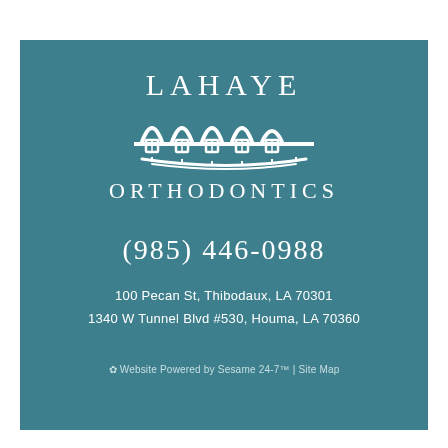[Figure (logo): Lahaye Orthodontics logo: text 'LAHAYE' above a stylized dental braces/teeth icon, then 'ORTHODONTICS' below, all in white on teal background]
(985) 446-0988
100 Pecan St, Thibodaux, LA 70301
1340 W Tunnel Blvd #530, Houma, LA 70360
Website Powered by Sesame 24-7™ | Site Map